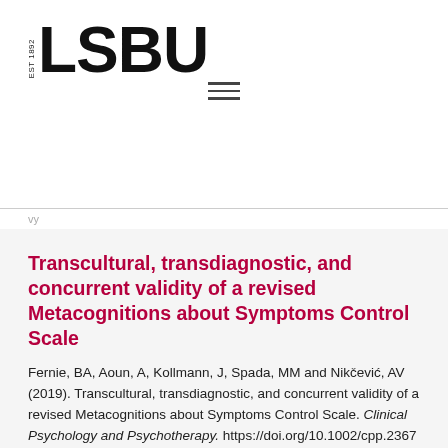[Figure (logo): LSBU logo with EST 1892 text beside large bold LSBU text]
[Figure (other): Hamburger menu icon with three horizontal lines]
Transcultural, transdiagnostic, and concurrent validity of a revised Metacognitions about Symptoms Control Scale
Fernie, BA, Aoun, A, Kollmann, J, Spada, MM and Nikčević, AV (2019). Transcultural, transdiagnostic, and concurrent validity of a revised Metacognitions about Symptoms Control Scale. Clinical Psychology and Psychotherapy. https://doi.org/10.1002/cpp.2367
Pre-partying amongst students in the